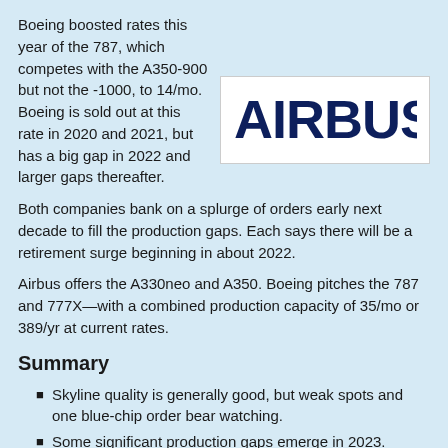Boeing boosted rates this year of the 787, which competes with the A350-900 but not the -1000, to 14/mo. Boeing is sold out at this rate in 2020 and 2021, but has a big gap in 2022 and larger gaps thereafter.
[Figure (logo): Airbus logo in dark navy blue text on white background]
Both companies bank on a splurge of orders early next decade to fill the production gaps. Each says there will be a retirement surge beginning in about 2022.
Airbus offers the A330neo and A350. Boeing pitches the 787 and 777X—with a combined production capacity of 35/mo or 389/yr at current rates.
Summary
Skyline quality is generally good, but weak spots and one blue-chip order bear watching.
Some significant production gaps emerge in 2023.